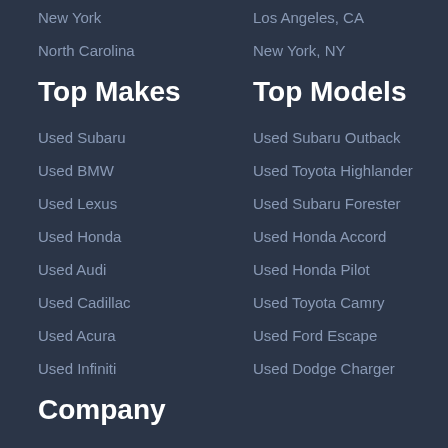New York
Los Angeles, CA
North Carolina
New York, NY
Top Makes
Top Models
Used Subaru
Used Subaru Outback
Used BMW
Used Toyota Highlander
Used Lexus
Used Subaru Forester
Used Honda
Used Honda Accord
Used Audi
Used Honda Pilot
Used Cadillac
Used Toyota Camry
Used Acura
Used Ford Escape
Used Infiniti
Used Dodge Charger
Company